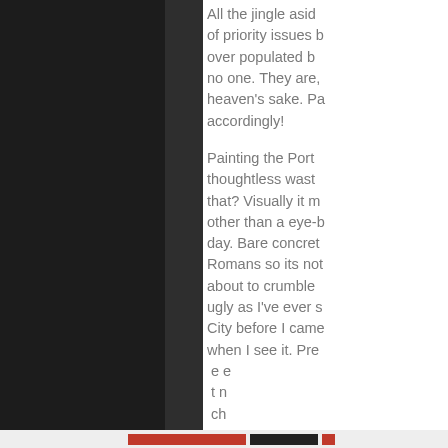All the jingle aside, of priority issues b… over populated b… no one. They are, heaven's sake. Pa… accordingly!
Painting the Port… thoughtless wast… that? Visually it m… other than a eye-b… day. Bare concret… Romans so its not… about to crumble… ugly as I've ever s… City before I came… when I see it. Pre… e e… t n… ch…
Privacy & Cookies: This site uses cookies. By continuing to use this website, you agree to their use.
To find out more, including how to control cookies, see here: Cookie Policy
Close and accept